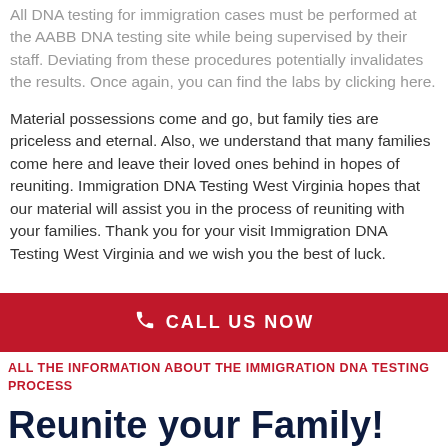All DNA testing for immigration cases must be performed at the AABB DNA testing site while being supervised by their staff. Deviating from these procedures potentially invalidates the results. Once again, you can find the labs by clicking here.
Material possessions come and go, but family ties are priceless and eternal. Also, we understand that many families come here and leave their loved ones behind in hopes of reuniting. Immigration DNA Testing West Virginia hopes that our material will assist you in the process of reuniting with your families. Thank you for your visit Immigration DNA Testing West Virginia and we wish you the best of luck.
[Figure (infographic): Red banner with phone icon and CALL US NOW text in white on crimson red background]
ALL THE INFORMATION ABOUT THE IMMIGRATION DNA TESTING PROCESS
Reunite your Family!
IMMIGRATION DNA TESTING HOPES THAT YOU SEE THE